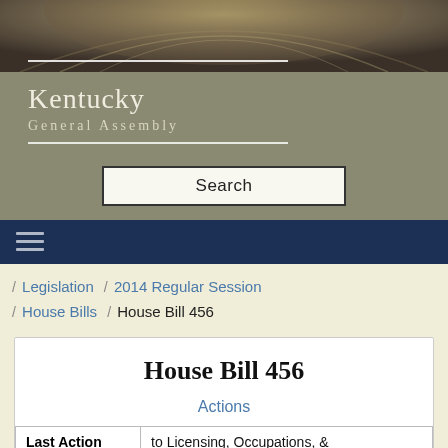[Figure (photo): Kentucky State Capitol building dome interior, arched ceiling with ornate details, brownish-gold tones]
Kentucky General Assembly
Search
Legislation / 2014 Regular Session / House Bills / House Bill 456
House Bill 456
Actions
| Last Action |  |
| --- | --- |
| Last Action | to Licensing, Occupations, & Administrative Regulations (S) |